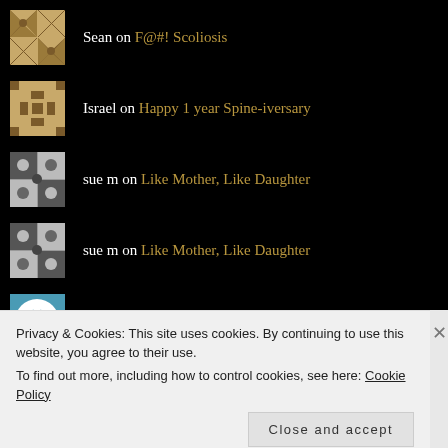Sean on F@#! Scoliosis
Israel on Happy 1 year Spine-iversary
sue m on Like Mother, Like Daughter
sue m on Like Mother, Like Daughter
Leah St. Denis on Like Mother, Like Daughter
Privacy & Cookies: This site uses cookies. By continuing to use this website, you agree to their use.
To find out more, including how to control cookies, see here: Cookie Policy
Close and accept